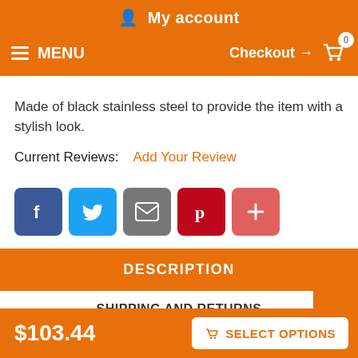My account
MENU  Checkout → 0
Made of black stainless steel to provide the item with a stylish look.
Current Reviews:  Add Your Review
[Figure (other): Social sharing buttons: Facebook (blue), Twitter (light blue), Email (gray), Pinterest (dark red), More/Plus (salmon/red)]
DESCRIPTION
SHIPPING AND RETURNS
$103.44
SELECT OPTIONS